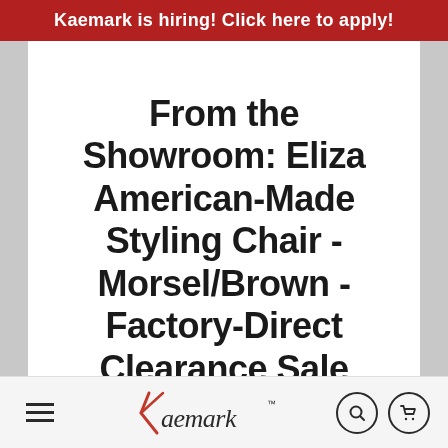Kaemark is hiring! Click here to apply!
From the Showroom: Eliza American-Made Styling Chair - Morsel/Brown - Factory-Direct Clearance Sale
KAEMARK
SKU:EL-60
[Figure (logo): Kaemark logo with stylized K and cursive 'aemark' text with TM mark in red and black, displayed in the bottom navigation bar]